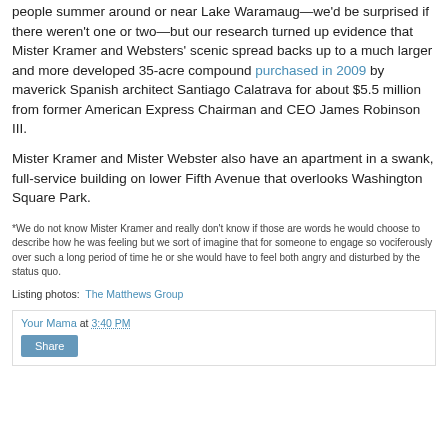people summer around or near Lake Waramaug—we'd be surprised if there weren't one or two—but our research turned up evidence that Mister Kramer and Websters' scenic spread backs up to a much larger and more developed 35-acre compound purchased in 2009 by maverick Spanish architect Santiago Calatrava for about $5.5 million from former American Express Chairman and CEO James Robinson III.
Mister Kramer and Mister Webster also have an apartment in a swank, full-service building on lower Fifth Avenue that overlooks Washington Square Park.
*We do not know Mister Kramer and really don't know if those are words he would choose to describe how he was feeling but we sort of imagine that for someone to engage so vociferously over such a long period of time he or she would have to feel both angry and disturbed by the status quo.
Listing photos: The Matthews Group
Your Mama at 3:40 PM
Share